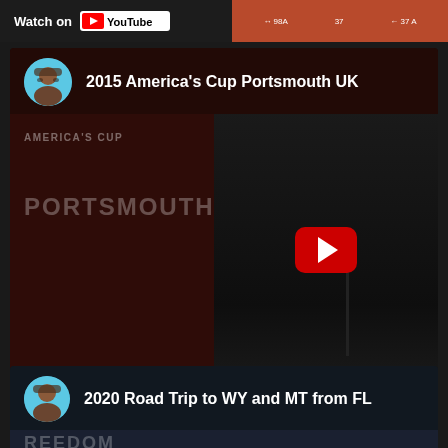[Figure (screenshot): Top strip with Watch on YouTube button and stats panel on right]
[Figure (screenshot): YouTube video card for '2015 America's Cup Portsmouth UK' with avatar, thumbnail showing AMERICA'S CUP / PORTSMOUTH text overlay, play button, and Watch on YouTube footer]
2015 America's Cup Portsmouth UK
AMERICA'S CUP
PORTSMOUTH
Watch on YouTube
[Figure (screenshot): Partial YouTube video card for '2020 Road Trip to WY and MT from FL' visible at bottom]
2020 Road Trip to WY and MT from FL